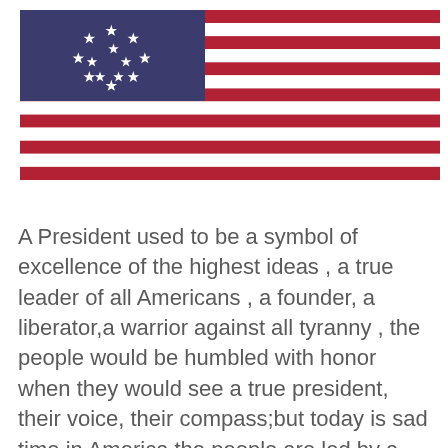[Figure (illustration): Betsy Ross style American flag with 13 stars in circle pattern on blue canton, red and white horizontal stripes]
A President used to be a symbol of excellence of the highest ideas , a true leader of all Americans , a founder, a liberator,a warrior against all tyranny , the people would be humbled with honor when they would see a true president, their voice, their compass;but today is sad time in America,the people are led by a